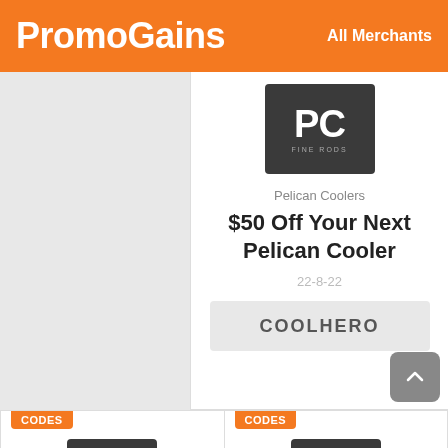PromoGains  All Merchants
[Figure (logo): Pelican Coolers PC logo on dark background]
Pelican Coolers
$50 Off Your Next Pelican Cooler
22-8-22
COOLHERO
[Figure (logo): Pelican Coolers PC logo on dark background]
Pelican Coolers
Discount On Your
[Figure (logo): Pelican Coolers PC logo on dark background]
Pelican Coolers
Free Tumbler In Your